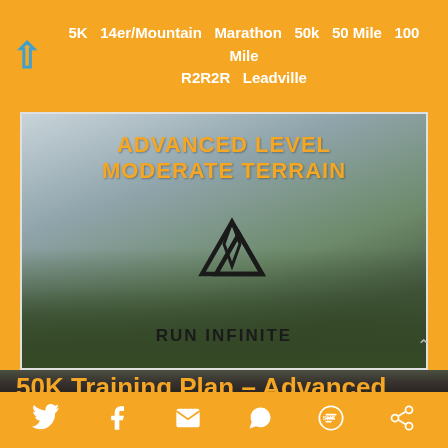5K  14er/Mountain  Marathon  50k  50 Mile  100 Mile  R2R2R  Leadville
[Figure (photo): Mountain landscape background with 'ADVANCED LEVEL MODERATE TERRAIN' text overlay in orange, and a mountain logo with 'RUN INFINITE' branding in the center]
50K Training Plan – Advanced
$69.00
Social share icons: Twitter, Facebook, Email, WhatsApp, SMS, Other